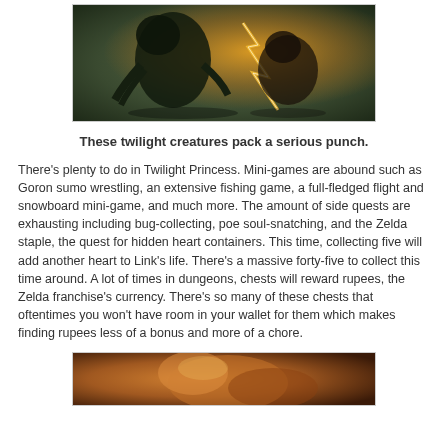[Figure (photo): Screenshot from Twilight Princess showing a dark twilight creature with glowing orange/yellow energy effects against a dark green background]
These twilight creatures pack a serious punch.
There's plenty to do in Twilight Princess. Mini-games are abound such as Goron sumo wrestling, an extensive fishing game, a full-fledged flight and snowboard mini-game, and much more. The amount of side quests are exhausting including bug-collecting, poe soul-snatching, and the Zelda staple, the quest for hidden heart containers. This time, collecting five will add another heart to Link's life. There's a massive forty-five to collect this time around. A lot of times in dungeons, chests will reward rupees, the Zelda franchise's currency. There's so many of these chests that oftentimes you won't have room in your wallet for them which makes finding rupees less of a bonus and more of a chore.
[Figure (photo): Screenshot from Twilight Princess showing a character with warm orange and gold tones, partially visible at the bottom of the page]